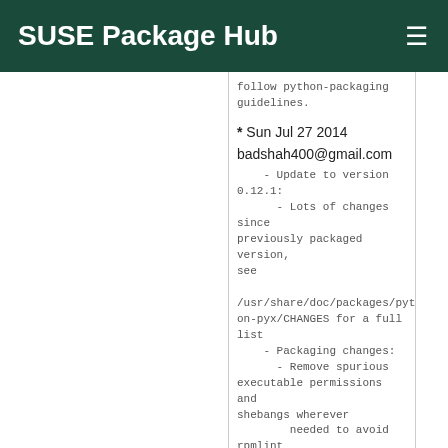SUSE Package Hub
follow python-packaging guidelines.
* Sun Jul 27 2014 badshah400@gmail.com
    - Update to version 0.12.1:
      - Lots of changes since previously packaged version, see

/usr/share/doc/packages/python-pyx/CHANGES for a full list
    - Packaging changes:
      - Remove spurious executable permissions and shebangs wherever
          needed to avoid rpmlint warnings
      - No longer use deprecated "--record-rpm"; use %{python_sitelib}
          instead
      - Drop patches that no longer apply
          + python-pyx-no_root-0.8.1.patch
          + PyX-0.9-pyxrcdir.patch (no more /etc/pyxrc file)
    - Specfile cleanups
          + Remove empty %clean section
          + Use full source URL